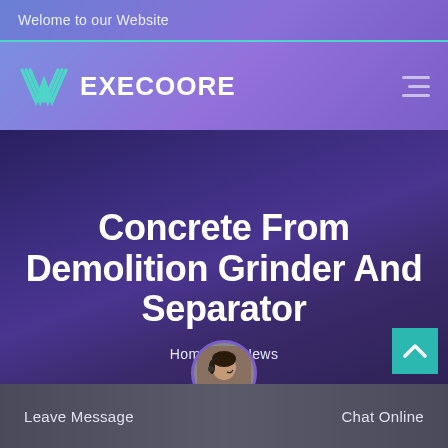Welome to our Website
[Figure (logo): Execoore company logo with stylized W chevron icon and hamburger menu]
Concrete From Demolition Grinder And Separator
Home / News
[Figure (photo): Customer service avatar: woman with headset]
Leave Message   Chat Online